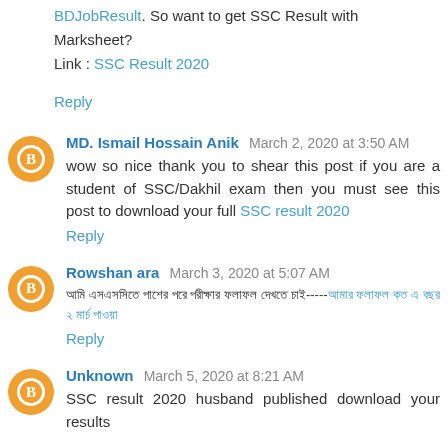BDJobResult. So want to get SSC Result with Marksheet? Link : SSC Result 2020
Reply
MD. Ismail Hossain Anik  March 2, 2020 at 3:50 AM
wow so nice thank you to shear this post if you are a student of SSC/Dakhil exam then you must see this post to download your full SSC result 2020
Reply
Rowshan ara  March 3, 2020 at 5:07 AM
[Bengali text] SSC result 2020
Reply
Unknown  March 5, 2020 at 8:21 AM
SSC result 2020 husband published download your results